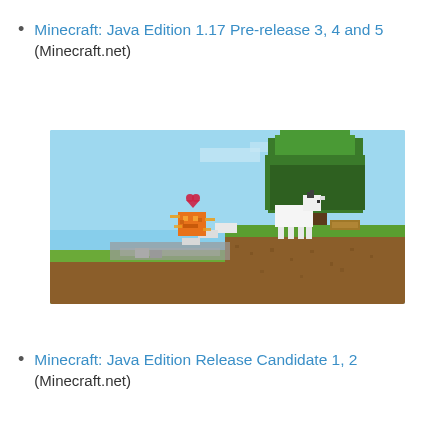Minecraft: Java Edition 1.17 Pre-release 3, 4 and 5 (Minecraft.net)
[Figure (screenshot): Minecraft Java Edition screenshot showing a goat on a grassy cliff edge with a floating orange mob (Blaze or similar), a heart particle above it, and trees in the background against a blue sky.]
Minecraft: Java Edition Release Candidate 1, 2 (Minecraft.net)